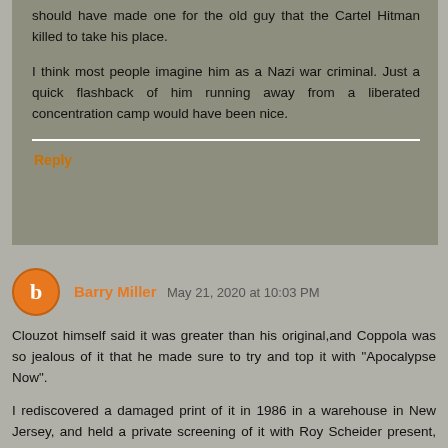should have made one for the old guy that the Cartel Hitman killed to take his place.

I think most people imagine him as a Nazi war criminal. Just a quick flashback of him running away from a liberated concentration camp would have been nice.
Reply
Barry Miller  May 21, 2020 at 10:03 PM
Clouzot himself said it was greater than his original,and Coppola was so jealous of it that he made sure to try and top it with "Apocalypse Now".

I rediscovered a damaged print of it in 1986 in a warehouse in New Jersey, and held a private screening of it with Roy Scheider present, who proceeded to regal me with every gory detail of it's